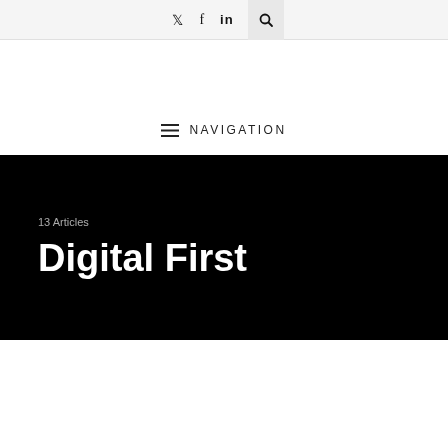Twitter  Facebook  LinkedIn  Search
≡  NAVIGATION
13 Articles
Digital First